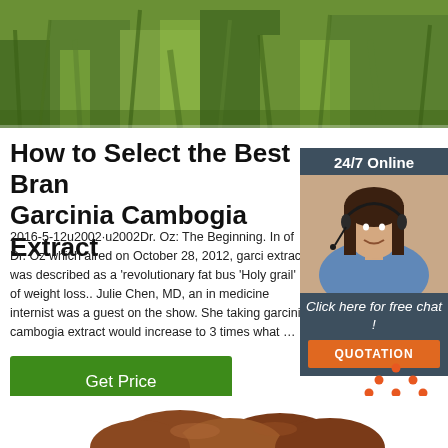[Figure (photo): Green grass close-up photo at the top of the page]
How to Select the Best Brand Garcinia Cambogia Extract
2016-5-12u2002·u2002Dr. Oz: The Beginning. In of Dr. Oz which aired on October 28, 2012, garci extract was described as a 'revolutionary fat bus 'Holy grail' of weight loss.. Julie Chen, MD, an in medicine internist was a guest on the show. She taking garcinia cambogia extract would increase to 3 times what …
[Figure (photo): Advertisement box: 24/7 Online with woman wearing headset, Click here for free chat!, QUOTATION button in orange]
[Figure (other): Get Price green button]
[Figure (logo): TOP logo with orange dot pattern above text]
[Figure (photo): Bottom partial photo showing brown/chocolate colored rounded shapes]